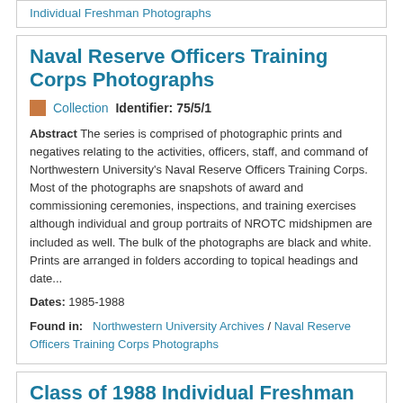Individual Freshman Photographs
Naval Reserve Officers Training Corps Photographs
Collection   Identifier: 75/5/1
Abstract The series is comprised of photographic prints and negatives relating to the activities, officers, staff, and command of Northwestern University's Naval Reserve Officers Training Corps. Most of the photographs are snapshots of award and commissioning ceremonies, inspections, and training exercises although individual and group portraits of NROTC midshipmen are included as well. The bulk of the photographs are black and white. Prints are arranged in folders according to topical headings and date...
Dates: 1985-1988
Found in: Northwestern University Archives / Naval Reserve Officers Training Corps Photographs
Class of 1988 Individual Freshman Photographs